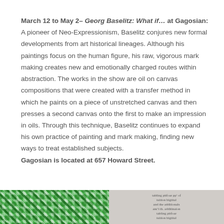March 12 to May 2– Georg Baselitz: What if... at Gagosian: A pioneer of Neo-Expressionism, Baselitz conjures new formal developments from art historical lineages. Although his paintings focus on the human figure, his raw, vigorous mark making creates new and emotionally charged routes within abstraction. The works in the show are oil on canvas compositions that were created with a transfer method in which he paints on a piece of unstretched canvas and then presses a second canvas onto the first to make an impression in oils. Through this technique, Baselitz continues to expand his own practice of painting and mark making, finding new ways to treat established subjects. Gagosian is located at 657 Howard Street.
[Figure (photo): Two images side by side at bottom: left shows a green patterned artwork with circular/geometric repeating motifs; right shows a text-dense gray image with overlapping printed text.]